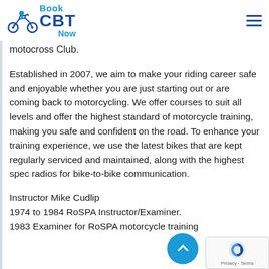Book CBT Now
motocross Club.
Established in 2007, we aim to make your riding career safe and enjoyable whether you are just starting out or are coming back to motorcycling. We offer courses to suit all levels and offer the highest standard of motorcycle training, making you safe and confident on the road. To enhance your training experience, we use the latest bikes that are kept regularly serviced and maintained, along with the highest spec radios for bike-to-bike communication.
Instructor Mike Cudlip
1974 to 1984 RoSPA Instructor/Examiner.
1983 Examiner for RoSPA motorcycle training